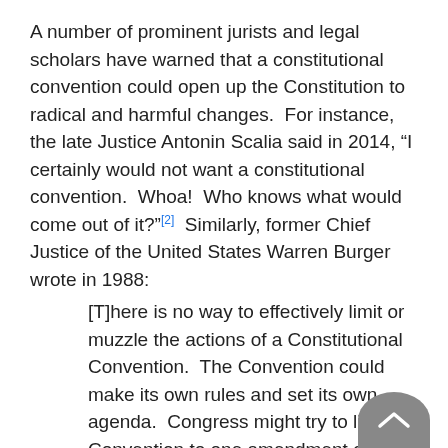A number of prominent jurists and legal scholars have warned that a constitutional convention could open up the Constitution to radical and harmful changes.  For instance, the late Justice Antonin Scalia said in 2014, “I certainly would not want a constitutional convention.  Whoa!  Who knows what would come out of it?”[2]  Similarly, former Chief Justice of the United States Warren Burger wrote in 1988:
[T]here is no way to effectively limit or muzzle the actions of a Constitutional Convention.  The Convention could make its own rules and set its own agenda.  Congress might try to limit the Convention to one amendment or one issue, but there is no way to assure that the Convention would obey.  After a Convention is convened, it will be too late to stop the Convention if we don’t like its agenda.[3]